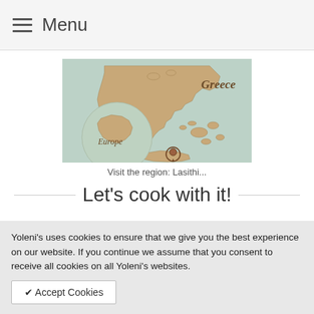Menu
[Figure (map): Vintage-style map showing Greece with regional detail, an inset globe showing Europe with Greece highlighted, and a location pin marker in the Lasithi region of Crete. Labeled 'Greece' in italic text top-right and 'Europe' on the inset globe.]
Visit the region: Lasithi...
Let's cook with it!
Yoleni's uses cookies to ensure that we give you the best experience on our website. If you continue we assume that you consent to receive all cookies on all Yoleni's websites.